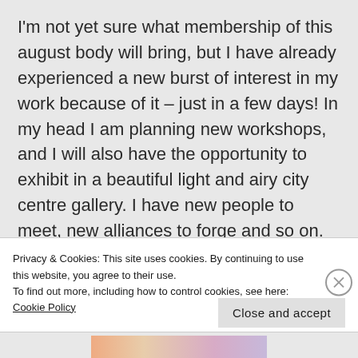I'm not yet sure what membership of this august body will bring, but I have already experienced a new burst of interest in my work because of it – just in a few days! In my head I am planning new workshops, and I will also have the opportunity to exhibit in a beautiful light and airy city centre gallery. I have new people to meet, new alliances to forge and so on.
Privacy & Cookies: This site uses cookies. By continuing to use this website, you agree to their use.
To find out more, including how to control cookies, see here:
Cookie Policy
Close and accept